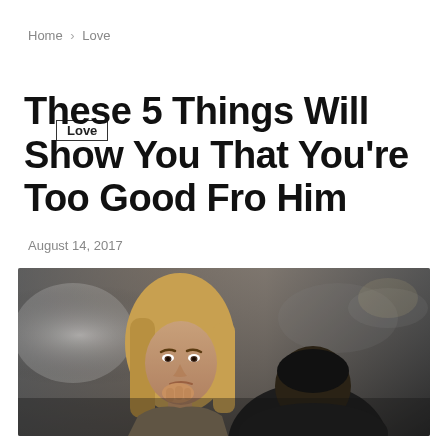Home > Love
Love
These 5 Things Will Show You That You're Too Good Fro Him
August 14, 2017
[Figure (photo): A woman with long blonde hair looking concerned, resting her chin on her hand, while a man with dark hair sits in the foreground with his back to the camera. Indoor setting, dim light.]